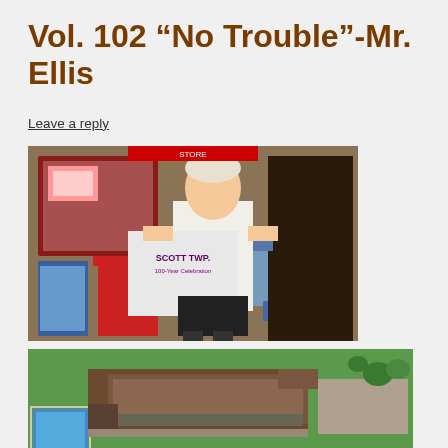Vol. 102 “No Trouble”-Mr. Ellis
Leave a reply
[Figure (photo): A man with blonde/white hair standing in front of a store entrance, holding up a white t-shirt that reads 'SCOTT TWP. 100-Year Celebration'. Merchandise and chairs visible in the background.]
[Figure (photo): Aerial view of a community center or school building complex with a swimming pool visible in the lower left, green lawns, parking areas, and surrounding facilities.]